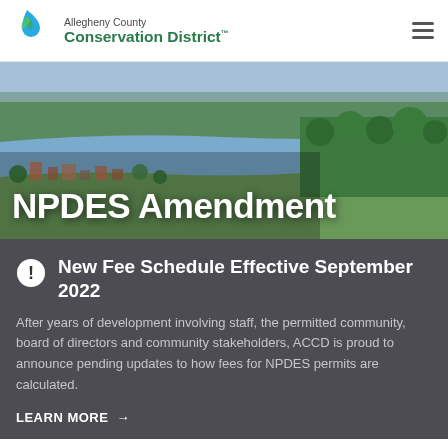Allegheny County Conservation District
[Figure (photo): Aerial drone photo of a riverside town with green forested hills and a wide river, with text overlay reading NPDES Amendment]
NPDES Amendment
New Fee Schedule Effective September 2022
After years of development involving staff, the permitted community, board of directors and community stakeholders, ACCD is proud to announce pending updates to how fees for NPDES permits are calculated.
LEARN MORE →